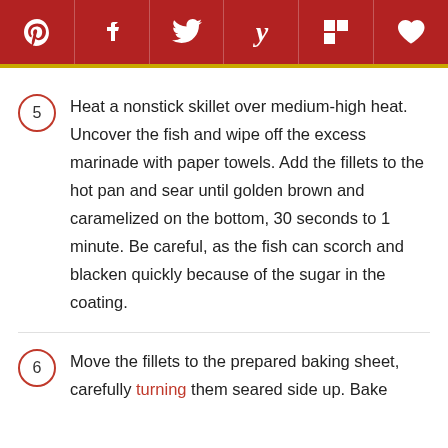Social share toolbar with Pinterest, Facebook, Twitter, Yummly, Flipboard, Fancy icons
5 — Heat a nonstick skillet over medium-high heat. Uncover the fish and wipe off the excess marinade with paper towels. Add the fillets to the hot pan and sear until golden brown and caramelized on the bottom, 30 seconds to 1 minute. Be careful, as the fish can scorch and blacken quickly because of the sugar in the coating.
6 — Move the fillets to the prepared baking sheet, carefully turning them seared side up. Bake